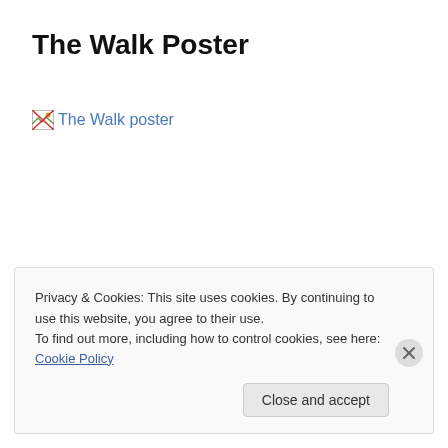The Walk Poster
[Figure (other): Broken image placeholder with alt text 'The Walk poster', shown as a small broken-image icon followed by the text 'The Walk poster' as a blue hyperlink]
Privacy & Cookies: This site uses cookies. By continuing to use this website, you agree to their use.
To find out more, including how to control cookies, see here: Cookie Policy
Close and accept